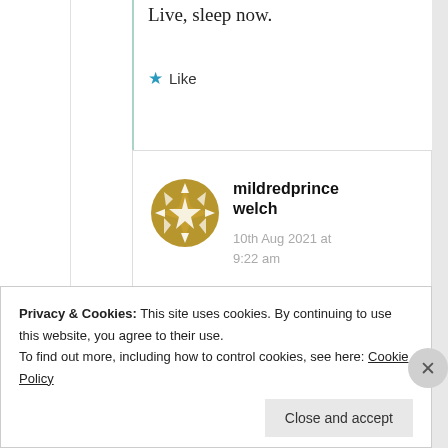Live, sleep now.
Like
mildredprince welch
10th Aug 2021 at 9:22 am
Smiles
Privacy & Cookies: This site uses cookies. By continuing to use this website, you agree to their use.
To find out more, including how to control cookies, see here: Cookie Policy
Close and accept